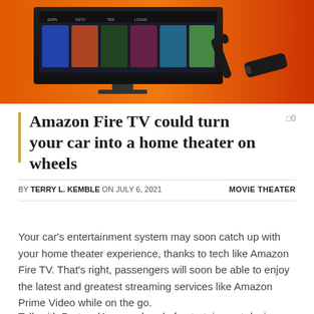[Figure (photo): Amazon Fire TV promotional image showing a television screen with streaming content and a Fire TV Stick remote on an orange/red gradient background]
Amazon Fire TV could turn your car into a home theater on wheels
BY TERRY L. KEMBLE ON JULY 6, 2021   MOVIE THEATER
Your car's entertainment system may soon catch up with your home theater experience, thanks to tech like Amazon Fire TV. That's right, passengers will soon be able to enjoy the latest and greatest streaming services like Amazon Prime Video while on the go.
Talk with ProtocolAmazon head of entertainment devices and